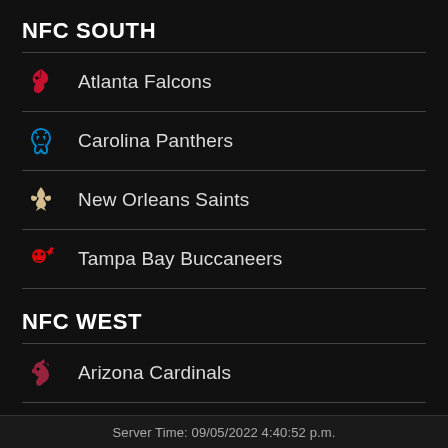NFC SOUTH
Atlanta Falcons
Carolina Panthers
New Orleans Saints
Tampa Bay Buccaneers
NFC WEST
Arizona Cardinals
Los Angeles Rams
Server Time: 09/05/2022 4:40:52 p.m.